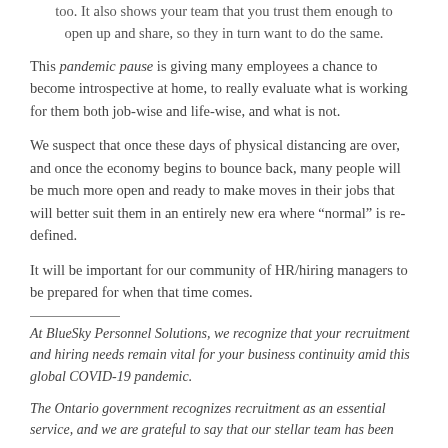too. It also shows your team that you trust them enough to open up and share, so they in turn want to do the same.
This pandemic pause is giving many employees a chance to become introspective at home, to really evaluate what is working for them both job-wise and life-wise, and what is not.
We suspect that once these days of physical distancing are over, and once the economy begins to bounce back, many people will be much more open and ready to make moves in their jobs that will better suit them in an entirely new era where “normal” is re-defined.
It will be important for our community of HR/hiring managers to be prepared for when that time comes.
At BlueSky Personnel Solutions, we recognize that your recruitment and hiring needs remain vital for your business continuity amid this global COVID-19 pandemic.
The Ontario government recognizes recruitment as an essential service, and we are grateful to say that our stellar team has been